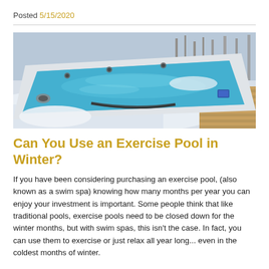Posted 5/15/2020
[Figure (photo): Outdoor swim spa / exercise pool photographed in winter, surrounded by snow, with turquoise water and wooden deck visible on right side.]
Can You Use an Exercise Pool in Winter?
If you have been considering purchasing an exercise pool, (also known as a swim spa) knowing how many months per year you can enjoy your investment is important. Some people think that like traditional pools, exercise pools need to be closed down for the winter months, but with swim spas, this isn't the case. In fact, you can use them to exercise or just relax all year long... even in the coldest months of winter.